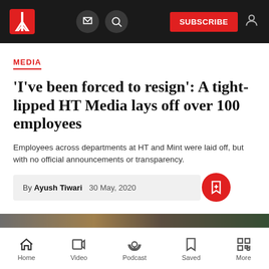HT Media — Navigation bar with logo, subscribe button
MEDIA
'I've been forced to resign': A tight-lipped HT Media lays off over 100 employees
Employees across departments at HT and Mint were laid off, but with no official announcements or transparency.
By Ayush Tiwari  30 May, 2020
[Figure (photo): Partial photo of a person holding a document, blurred background]
Home  Video  Podcast  Saved  More